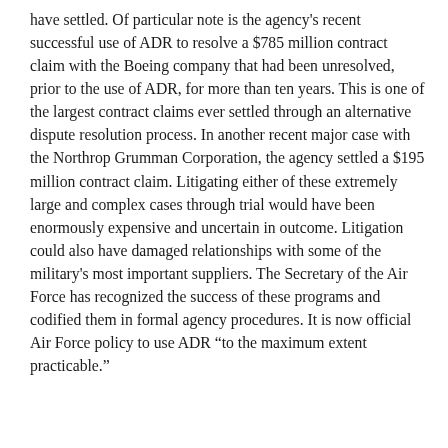have settled. Of particular note is the agency's recent successful use of ADR to resolve a $785 million contract claim with the Boeing company that had been unresolved, prior to the use of ADR, for more than ten years. This is one of the largest contract claims ever settled through an alternative dispute resolution process. In another recent major case with the Northrop Grumman Corporation, the agency settled a $195 million contract claim. Litigating either of these extremely large and complex cases through trial would have been enormously expensive and uncertain in outcome. Litigation could also have damaged relationships with some of the military's most important suppliers. The Secretary of the Air Force has recognized the success of these programs and codified them in formal agency procedures. It is now official Air Force policy to use ADR “to the maximum extent practicable.”